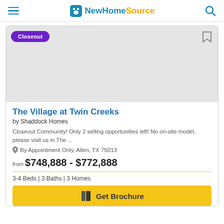NewHomeSource
[Figure (screenshot): NewHomeSource website listing page showing The Village at Twin Creeks community by Shaddock Homes with a Closeout badge and property image placeholder]
The Village at Twin Creeks
by Shaddock Homes
Closeout Community! Only 2 selling opportunities left! No on-site model, please visit us in The ...
By Appointment Only, Allen, TX 75013
from $748,888 - $772,888
3-4 Beds | 3 Baths | 3 Homes
Get Brochure